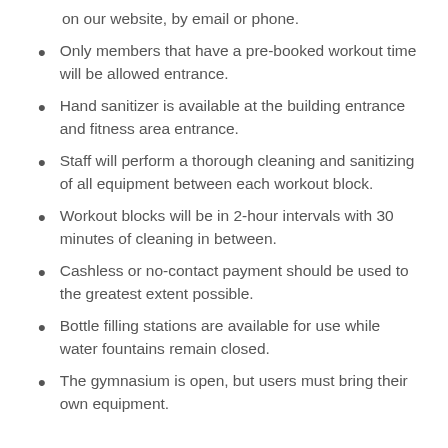on our website, by email or phone.
Only members that have a pre-booked workout time will be allowed entrance.
Hand sanitizer is available at the building entrance and fitness area entrance.
Staff will perform a thorough cleaning and sanitizing of all equipment between each workout block.
Workout blocks will be in 2-hour intervals with 30 minutes of cleaning in between.
Cashless or no-contact payment should be used to the greatest extent possible.
Bottle filling stations are available for use while water fountains remain closed.
The gymnasium is open, but users must bring their own equipment.